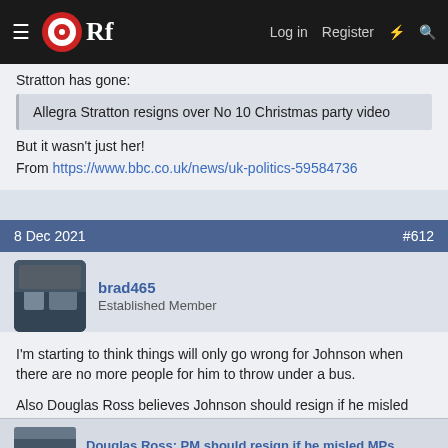[Figure (screenshot): Navigation bar of an online forum called ORf with hamburger menu, logo, Log in, Register, and search icons]
Stratton has gone:
Allegra Stratton resigns over No 10 Christmas party video
But it wasn't just her!
From https://www.bbc.co.uk/news/uk-politics-59584736
8 Dec 2021  #612
brad465
Established Member
I'm starting to think things will only go wrong for Johnson when there are no more people for him to throw under a bus.
Also Douglas Ross believes Johnson should resign if he misled MPs: